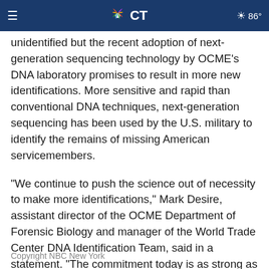NBC CT — 86°
unidentified but the recent adoption of next-generation sequencing technology by OCME's DNA laboratory promises to result in more new identifications. More sensitive and rapid than conventional DNA techniques, next-generation sequencing has been used by the U.S. military to identify the remains of missing American servicemembers.
“We continue to push the science out of necessity to make more identifications,” Mark Desire, assistant director of the OCME Department of Forensic Biology and manager of the World Trade Center DNA Identification Team, said in a statement. “The commitment today is as strong as it was in 2001.”
Copyright NBC New York